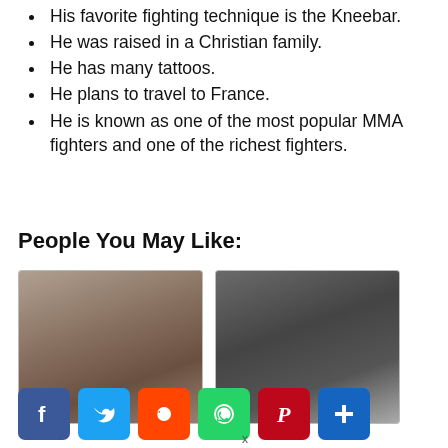His favorite fighting technique is the Kneebar.
He was raised in a Christian family.
He has many tattoos.
He plans to travel to France.
He is known as one of the most popular MMA fighters and one of the richest fighters.
People You May Like:
[Figure (photo): Photo of a young male MMA fighter facing forward, light skin, curly dark hair]
[Figure (photo): Photo of a male MMA fighter, short hair, dark/blurry background with yellow element visible]
[Figure (other): Social media share buttons: Facebook, Twitter, Reddit, WhatsApp, Pinterest, Share]